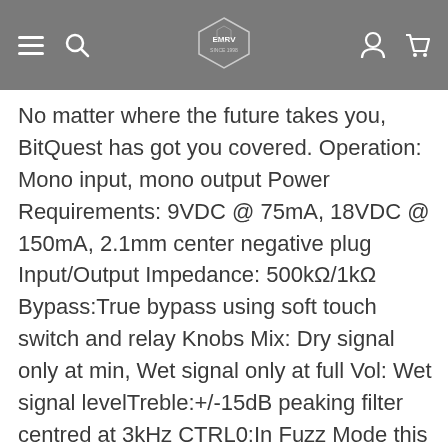Navigation bar with hamburger menu, search, logo, account, and cart icons
No matter where the future takes you, BitQuest has got you covered. Operation: Mono input, mono output Power Requirements: 9VDC @ 75mA, 18VDC @ 150mA, 2.1mm center negative plug Input/Output Impedance: 500kΩ/1kΩ Bypass:True bypass using soft touch switch and relay Knobs Mix: Dry signal only at min, Wet signal only at full Vol: Wet signal levelTreble:+/-15dB peaking filter centred at 3kHz CTRL0:In Fuzz Mode this is the gain control, in Clean Mode this controls an effect parameter, depends on patch CTRL1:Controls an effect parameter, depends on patch